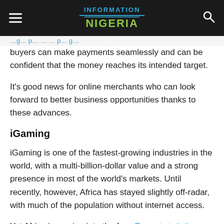Information Nigeria
buyers can make payments seamlessly and can be confident that the money reaches its intended target.
It's good news for online merchants who can look forward to better business opportunities thanks to these advances.
iGaming
iGaming is one of the fastest-growing industries in the world, with a multi-billion-dollar value and a strong presence in most of the world's markets. Until recently, however, Africa has stayed slightly off-radar, with much of the population without internet access.
Yet Africa is coming into the fray. Recent statistics show that